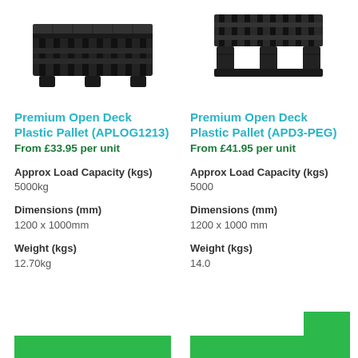[Figure (photo): Black plastic open deck pallet, viewed from above-front angle, left column]
[Figure (photo): Black plastic open deck pallet with legs visible, viewed from side-top angle, right column]
Premium Open Deck Plastic Pallet (APLOG1213)
From £33.95 per unit
Approx Load Capacity (kgs)
5000kg
Dimensions (mm)
1200 x 1000mm
Weight (kgs)
12.70kg
Premium Open Deck Plastic Pallet (APD3-PEG)
From £41.95 per unit
Approx Load Capacity (kgs)
5000
Dimensions (mm)
1200 x 1000 mm
Weight (kgs)
14.0